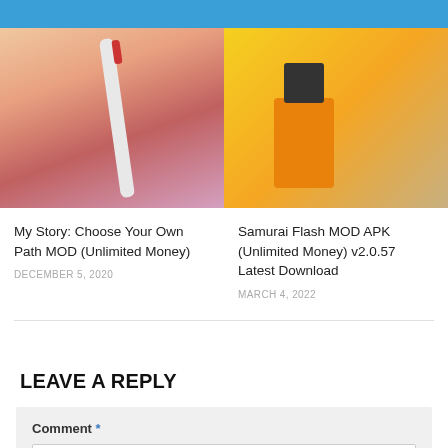[Figure (photo): Cartoon woman holding a toothbrush, blonde hair, pink outfit]
[Figure (photo): Roblox-style 3D character in orange outfit running on yellow background]
My Story: Choose Your Own Path MOD (Unlimited Money)
DECEMBER 5, 2020
Samurai Flash MOD APK (Unlimited Money) v2.0.57 Latest Download
MARCH 4, 2022
LEAVE A REPLY
Comment *